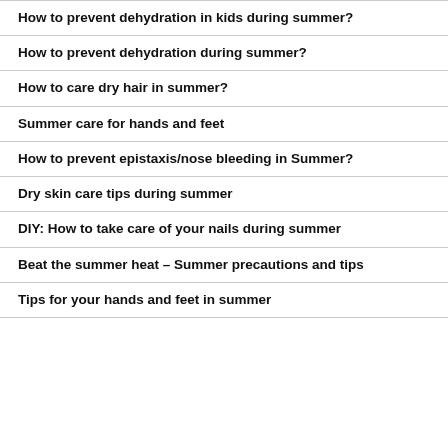How to prevent dehydration in kids during summer?
How to prevent dehydration during summer?
How to care dry hair in summer?
Summer care for hands and feet
How to prevent epistaxis/nose bleeding in Summer?
Dry skin care tips during summer
DIY: How to take care of your nails during summer
Beat the summer heat – Summer precautions and tips
Tips for your hands and feet in summer